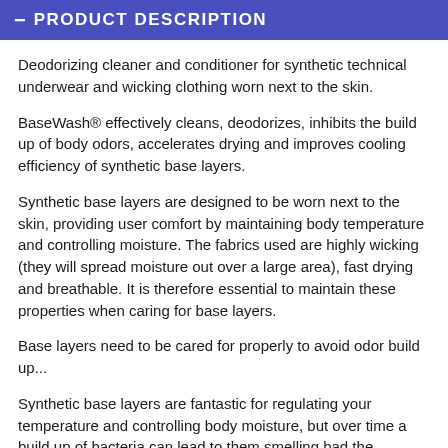PRODUCT DESCRIPTION
Deodorizing cleaner and conditioner for synthetic technical underwear and wicking clothing worn next to the skin.
BaseWash® effectively cleans, deodorizes, inhibits the build up of body odors, accelerates drying and improves cooling efficiency of synthetic base layers.
Synthetic base layers are designed to be worn next to the skin, providing user comfort by maintaining body temperature and controlling moisture. The fabrics used are highly wicking (they will spread moisture out over a large area), fast drying and breathable. It is therefore essential to maintain these properties when caring for base layers.
Base layers need to be cared for properly to avoid odor build up...
Synthetic base layers are fantastic for regulating your temperature and controlling body moisture, but over time a build up of bacteria can lead to them smelling bad the...